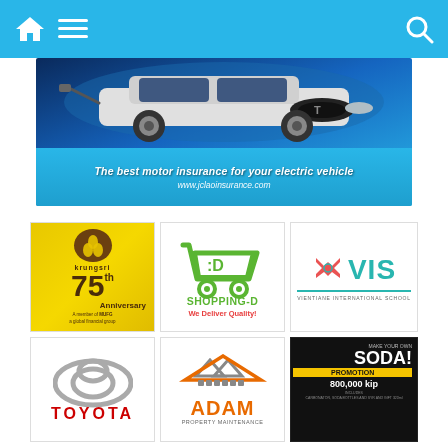Navigation bar with home, menu, and search icons
[Figure (illustration): Advertisement banner for JC Lao Insurance showing a white Tesla electric vehicle on a blue gradient background with text 'The best motor insurance for your electric vehicle' and URL www.jclaoinsurance.com]
[Figure (logo): Krungsri bank logo on yellow background - 75th Anniversary, A member of MUFG a global financial group]
[Figure (logo): Shopping-D logo with green shopping cart icon and text 'We Deliver Quality!']
[Figure (logo): VIS - Vientiane International School logo with X mark and teal VIS text]
[Figure (logo): Toyota logo with red TOYOTA text]
[Figure (logo): ADAM Property Maintenance logo with orange house roof icon]
[Figure (illustration): JC Soda promotion advertisement showing soda dispensers on black background with text 'MAKE YOUR OWN SODA! PROMOTION 800,000 kip']